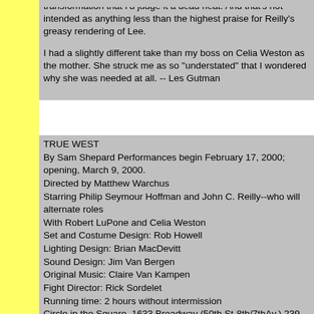transformation that I'd judge it a dead heat. And that's not intended as anything less than the highest praise for Reilly's greasy rendering of Lee.

I had a slightly different take than my boss on Celia Weston as the mother. She struck me as so "understated" that I wondered why she was needed at all. -- Les Gutman
TRUE WEST
By Sam Shepard Performances begin February 17, 2000; opening, March 9, 2000.
Directed by Matthew Warchus
Starring Philip Seymour Hoffman and John C. Reilly--who will alternate roles
With Robert LuPone and Celia Weston
Set and Costume Design: Rob Howell
Lighting Design: Brian MacDevitt
Sound Design: Jim Van Bergen
Original Music: Claire Van Kampen
Fight Director: Rick Sordelet
Running time: 2 hours without intermission
Circle in the Square, 1633 Broadway (50th St-8th/7thAv.) 239-6200